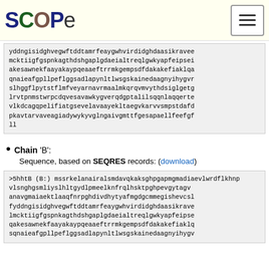SCOPe
yddngisidghvegwftddtamrfeaygwhvirdidghdaasikravee mcktiigfgspnkagthdshgaplgdaeialtreqlgwkyapfeipsei akesawnekfaayakaypqeaaeftrrmkgempsdfdakakefiaklqa qnaieafgpllpeflggsadlapynltlwsgskainedaagnyihygvr slhggflpytstflmfveyarnavrmaalmkqrqvmvythdsiglgetg lrvtpnmstwrpcdqvesavawkygverqdgptalilsqqnlaqqerte vlkdcagqpelifiatgsevelavaayekltaegvkarvvsmpstdafd pkavtarvaveagiadywykyvglngaivgmttfgesapaellfeefgf ll
Chain 'B': Sequence, based on SEQRES records: (download)
>5hhtB (B:) mssrkelanairalsmdavqkaksghpgapmgmadiaevlwrdflkhnp vlsnghgsmliyslhltgydlpmeelknfrqlhsktpghpevgytagv anavgmaiaektlaaqfnrpghdivdhytyafmgdgcmmegishevcsl fyddngisidghvegwftddtamrfeaygwhvirdidghdaasikrave lmcktiigfgspnkagthdshgaplgdaeialtreqlgwkyapfeipse qakesawnekfaayakaypqeaaeftrrmkgempsdfdakakefiaklq sqnaieafgpllpeflggsadlapynltlwsgskainedaagnyihygv